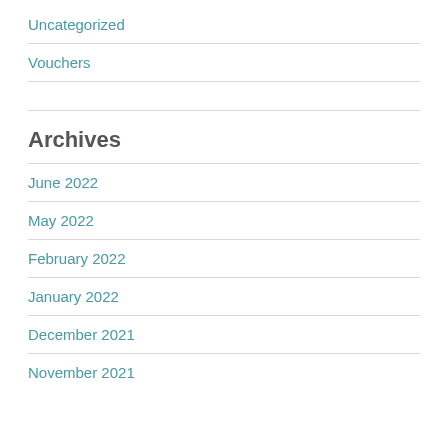Uncategorized
Vouchers
Archives
June 2022
May 2022
February 2022
January 2022
December 2021
November 2021